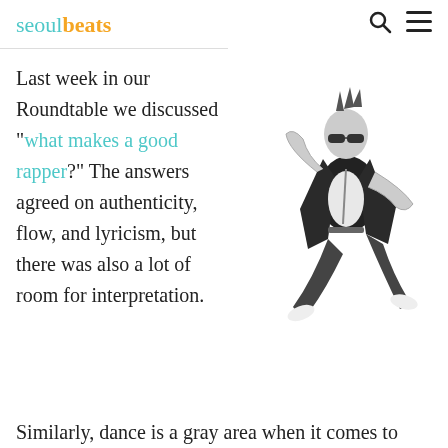seoulbeats
Last week in our Roundtable we discussed “what makes a good rapper?” The answers agreed on authenticity, flow, and lyricism, but there was also a lot of room for interpretation.
[Figure (photo): Black and white photo of a male rapper in sunglasses wearing a jacket, jumping in a dynamic hip-hop pose]
Similarly, dance is a gray area when it comes to